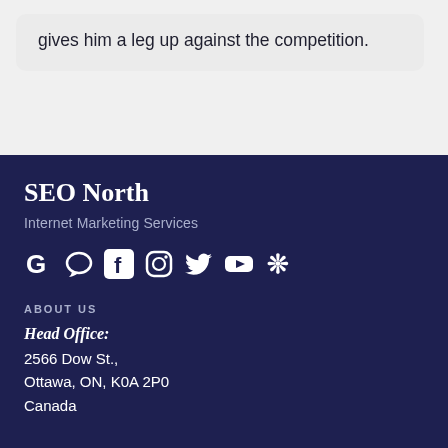gives him a leg up against the competition.
SEO North
Internet Marketing Services
[Figure (other): Row of social media icons: Google, chat/messenger, Facebook, Instagram, Twitter, YouTube, Yelp]
ABOUT US
Head Office:
2566 Dow St.,
Ottawa, ON, K0A 2P0
Canada